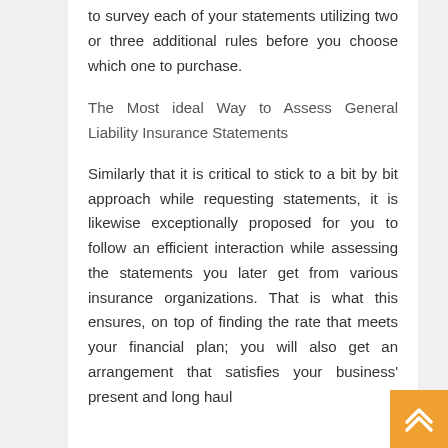to survey each of your statements utilizing two or three additional rules before you choose which one to purchase.
The Most ideal Way to Assess General Liability Insurance Statements
Similarly that it is critical to stick to a bit by bit approach while requesting statements, it is likewise exceptionally proposed for you to follow an efficient interaction while assessing the statements you later get from various insurance organizations. That is what this ensures, on top of finding the rate that meets your financial plan; you will also get an arrangement that satisfies your business' present and long haul